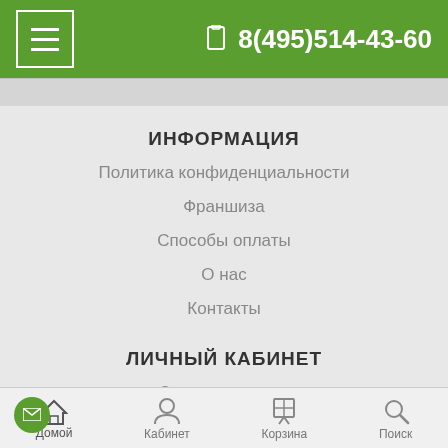☰  8(495)514-43-60
ИНФОРМАЦИЯ
Политика конфиденциальности
Франшиза
Способы оплаты
О нас
Контакты
ЛИЧНЫЙ КАБИНЕТ
Отследить заказ
Уведомления о товарах
Связь с менеджерами
Возврат товара
Домой  Кабинет  Корзина  Поиск